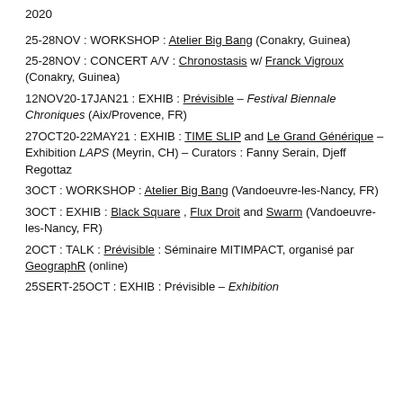2020
25-28NOV : WORKSHOP : Atelier Big Bang (Conakry, Guinea)
25-28NOV : CONCERT A/V : Chronostasis w/ Franck Vigroux (Conakry, Guinea)
12NOV20-17JAN21 : EXHIB : Prévisible – Festival Biennale Chroniques (Aix/Provence, FR)
27OCT20-22MAY21 : EXHIB : TIME SLIP and Le Grand Générique – Exhibition LAPS (Meyrin, CH) – Curators : Fanny Serain, Djeff Regottaz
3OCT : WORKSHOP : Atelier Big Bang (Vandoeuvre-les-Nancy, FR)
3OCT : EXHIB : Black Square , Flux Droit and Swarm (Vandoeuvre-les-Nancy, FR)
2OCT : TALK : Prévisible : Séminaire MITIMPACT, organisé par GeographR (online)
25SERT-25OCT : EXHIB : Prévisible – Exhibition